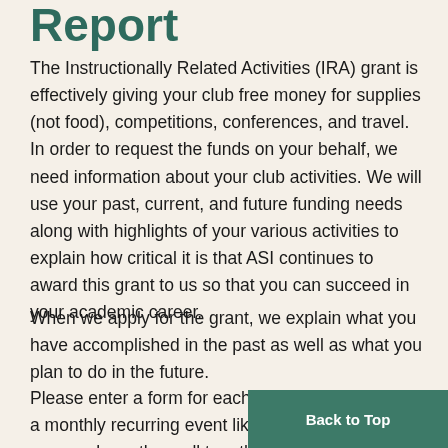Report
The Instructionally Related Activities (IRA) grant is effectively giving your club free money for supplies (not food), competitions, conferences, and travel. In order to request the funds on your behalf, we need information about your club activities. We will use your past, current, and future funding needs along with highlights of your various activities to explain how critical it is that ASI continues to award this grant to us so that you can succeed in your academic career.
When we apply for the grant, we explain what you have accomplished in the past as well as what you plan to do in the future.
Please enter a form for each event. However, if it's a monthly recurring event like general meetings you can lump them all together in one submission; no